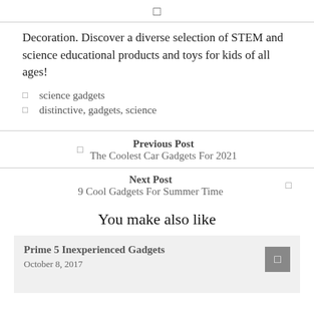Decoration. Discover a diverse selection of STEM and science educational products and toys for kids of all ages!
science gadgets
distinctive, gadgets, science
Previous Post
The Coolest Car Gadgets For 2021
Next Post
9 Cool Gadgets For Summer Time
You make also like
Prime 5 Inexperienced Gadgets
October 8, 2017